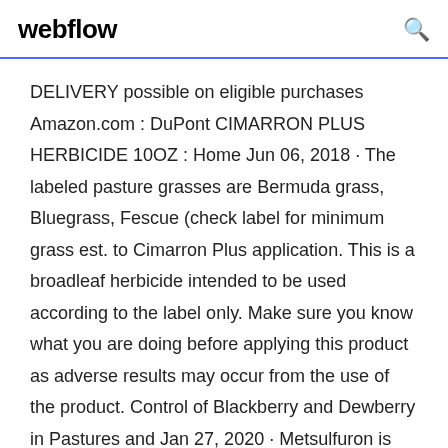webflow
DELIVERY possible on eligible purchases Amazon.com : DuPont CIMARRON PLUS HERBICIDE 10OZ : Home Jun 06, 2018 · The labeled pasture grasses are Bermuda grass, Bluegrass, Fescue (check label for minimum grass est. to Cimarron Plus application. This is a broadleaf herbicide intended to be used according to the label only. Make sure you know what you are doing before applying this product as adverse results may occur from the use of the product. Control of Blackberry and Dewberry in Pastures and Jan 27, 2020 · Metsulfuron is found in products such as Chaparral, Cimarron Plus, and some generic